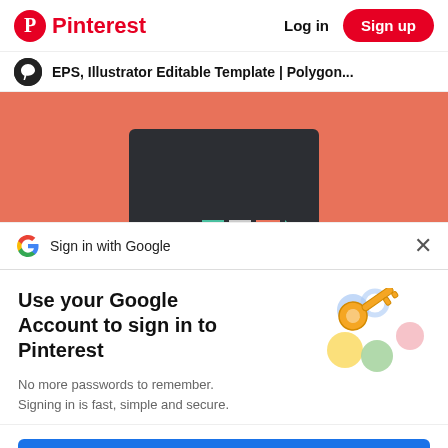Pinterest  Log in  Sign up
EPS, Illustrator Editable Template | Polygon...
[Figure (screenshot): Pinterest pin image with salmon/coral background and a dark card with geometric shapes (teal, red-orange, white squares/rectangles).]
Sign in with Google
Use your Google Account to sign in to Pinterest
No more passwords to remember.
Signing in is fast, simple and secure.
[Figure (illustration): Google account illustration with a gold key and colorful circular shapes (blue, yellow, green, pink).]
Continue